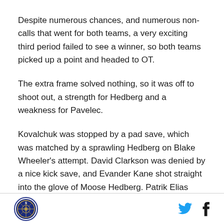Despite numerous chances, and numerous non-calls that went for both teams, a very exciting third period failed to see a winner, so both teams picked up a point and headed to OT.
The extra frame solved nothing, so it was off to shoot out, a strength for Hedberg and a weakness for Pavelec.
Kovalchuk was stopped by a pad save, which was matched by a sprawling Hedberg on Blake Wheeler's attempt. David Clarkson was denied by a nice kick save, and Evander Kane shot straight into the glove of Moose Hedberg. Patrik Elias sneaked one through the
[logo] [twitter] [facebook]